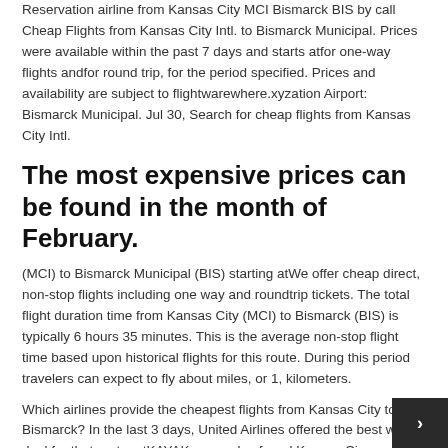Reservation airline from Kansas City MCI Bismarck BIS by call Cheap Flights from Kansas City Intl. to Bismarck Municipal. Prices were available within the past 7 days and starts atfor one-way flights andfor round trip, for the period specified. Prices and availability are subject to flightwarewhere.xyzation Airport: Bismarck Municipal. Jul 30, Search for cheap flights from Kansas City Intl.
The most expensive prices can be found in the month of February.
(MCI) to Bismarck Municipal (BIS) starting atWe offer cheap direct, non-stop flights including one way and roundtrip tickets. The total flight duration time from Kansas City (MCI) to Bismarck (BIS) is typically 6 hours 35 minutes. This is the average non-stop flight time based upon historical flights for this route. During this period travelers can expect to fly about miles, or 1, kilometers.
Which airlines provide the cheapest flights from Kansas City to Bismarck? In the last 3 days, United Airlines offered the best way deal for that route. atKAYAK users also found Kansas Ci